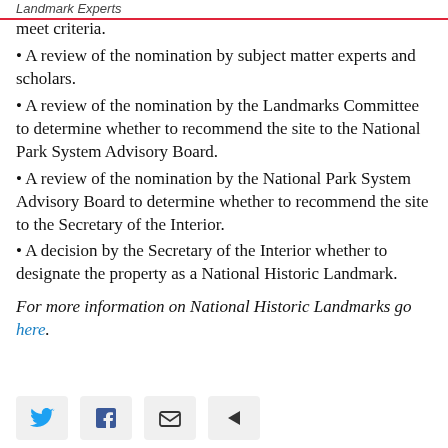meet criteria.
• A review of the nomination by subject matter experts and scholars.
• A review of the nomination by the Landmarks Committee to determine whether to recommend the site to the National Park System Advisory Board.
• A review of the nomination by the National Park System Advisory Board to determine whether to recommend the site to the Secretary of the Interior.
• A decision by the Secretary of the Interior whether to designate the property as a National Historic Landmark.
For more information on National Historic Landmarks go here.